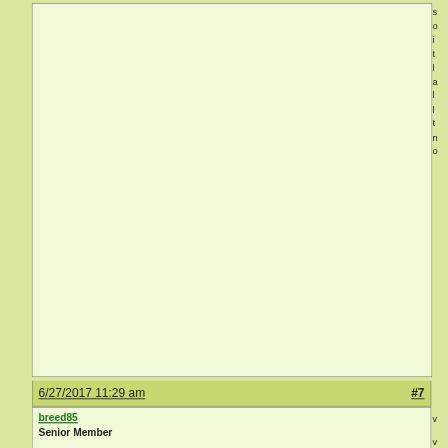6/27/2017 11:29 am  #7
breed85
Senior Member